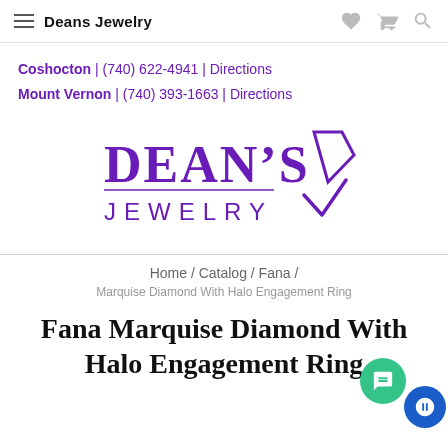Deans Jewelry
Coshocton | (740) 622-4941 | Directions
Mount Vernon | (740) 393-1663 | Directions
[Figure (logo): Dean's Jewelry logo in purple with diamond shape icon]
Home / Catalog / Fana /
Marquise Diamond With Halo Engagement Ring
Fana Marquise Diamond With Halo Engagement Ring